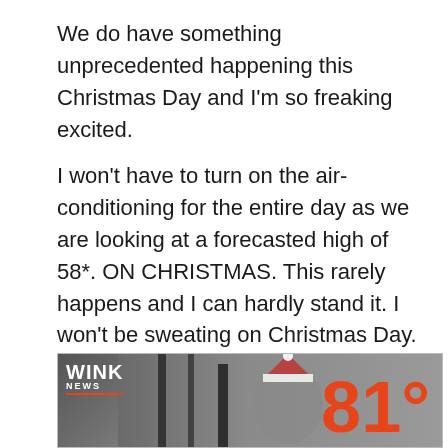We do have something unprecedented happening this Christmas Day and I'm so freaking excited.
I won't have to turn on the air-conditioning for the entire day as we are looking at a forecasted high of 58*. ON CHRISTMAS. This rarely happens and I can hardly stand it. I won't be sweating on Christmas Day. Well, unless Santa comes through and I start spreading my coveted mulch.
[Figure (screenshot): WINK News broadcast screenshot showing a temperature reading of 81 degrees in large orange text, with a Santa hat visible and outdoor furniture in the background.]